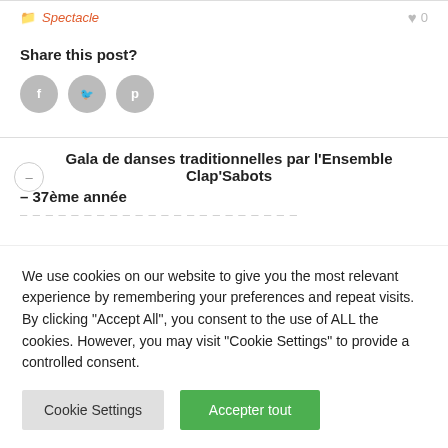Spectacle  ♥ 0
Share this post?
[Figure (illustration): Three social media sharing icons: Facebook (f), Twitter (bird), Pinterest (p) as grey circles]
Gala de danses traditionnelles par l'Ensemble Clap'Sabots – 37ème année
We use cookies on our website to give you the most relevant experience by remembering your preferences and repeat visits. By clicking "Accept All", you consent to the use of ALL the cookies. However, you may visit "Cookie Settings" to provide a controlled consent.
Cookie Settings | Accepter tout